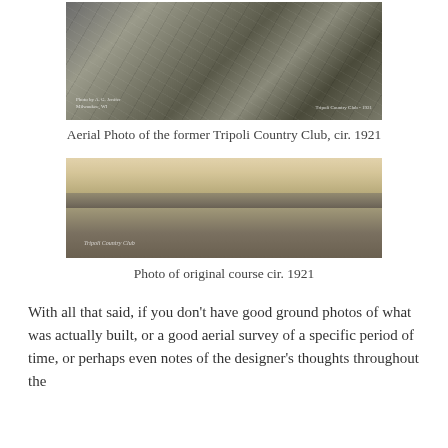[Figure (photo): Aerial black-and-white photograph of the former Tripoli Country Club, circa 1921. Shows an overhead view of golf course fairways, paths, and club buildings. Small text in lower-left reads 'Photo by A.G. Jenifer, Milwaukee, WI' and lower-right reads 'Tripoli Country Club - 1921'.]
Aerial Photo of the former Tripoli Country Club, cir. 1921
[Figure (photo): Sepia-toned ground-level photograph of the original Tripoli Country Club golf course, circa 1921. Shows flat open fairway with trees in the background and a flagstick visible. Text 'Tripoli Country Club' visible in lower-left corner.]
Photo of original course cir. 1921
With all that said, if you don't have good ground photos of what was actually built, or a good aerial survey of a specific period of time, or perhaps even notes of the designer's thoughts throughout the